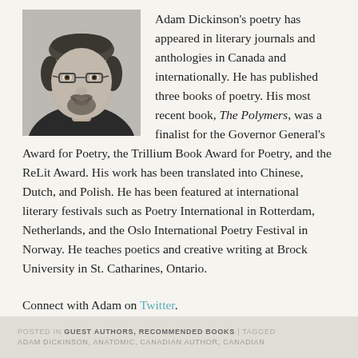[Figure (photo): Black and white portrait photo of a man with glasses, beard and goatee, looking directly at camera]
Adam Dickinson's poetry has appeared in literary journals and anthologies in Canada and internationally. He has published three books of poetry. His most recent book, The Polymers, was a finalist for the Governor General's Award for Poetry, the Trillium Book Award for Poetry, and the ReLit Award. His work has been translated into Chinese, Dutch, and Polish. He has been featured at international literary festivals such as Poetry International in Rotterdam, Netherlands, and the Oslo International Poetry Festival in Norway. He teaches poetics and creative writing at Brock University in St. Catharines, Ontario.
Connect with Adam on Twitter.
POSTED IN GUEST AUTHORS, RECOMMENDED BOOKS | TAGGED ADAM DICKINSON, ANATOMIC, CANADIAN AUTHOR, CANADIAN